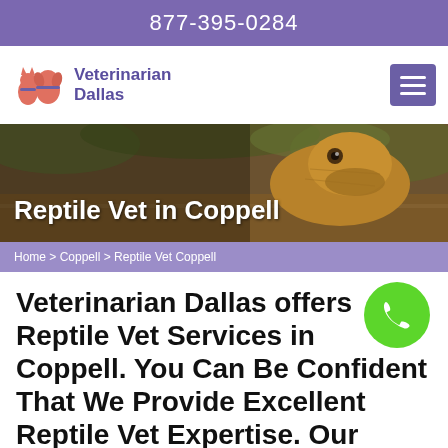877-395-0284
Veterinarian Dallas
[Figure (photo): Close-up photo of a bearded dragon lizard resting on a log with foliage in the background, used as a hero banner image for Reptile Vet in Coppell]
Reptile Vet in Coppell
Home > Coppell > Reptile Vet Coppell
Veterinarian Dallas offers Reptile Vet Services in Coppell. You Can Be Confident That We Provide Excellent Reptile Vet Expertise. Our Highly